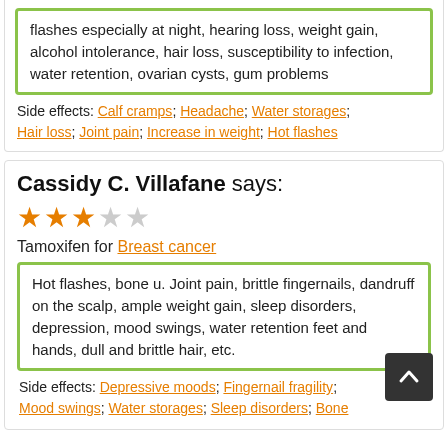flashes especially at night, hearing loss, weight gain, alcohol intolerance, hair loss, susceptibility to infection, water retention, ovarian cysts, gum problems
Side effects: Calf cramps; Headache; Water storages; Hair loss; Joint pain; Increase in weight; Hot flashes
Cassidy C. Villafane says:
★★★☆☆
Tamoxifen for Breast cancer
Hot flashes, bone u. Joint pain, brittle fingernails, dandruff on the scalp, ample weight gain, sleep disorders, depression, mood swings, water retention feet and hands, dull and brittle hair, etc.
Side effects: Depressive moods; Fingernail fragility; Mood swings; Water storages; Sleep disorders; Bone